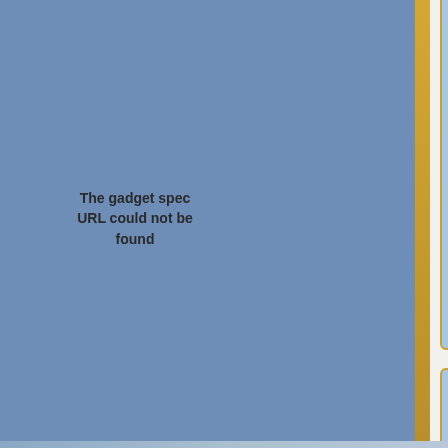The gadget spec URL could not be found
1 cup vegetable oil (partial, cut off)
2 and 1/4 cups sugar
2 cups milk
3 teaspoons Baking Powder
1/2 cup pine-nuts
1/4 Tahini (extracted from sesame seeds)
Additional Notes
Its a good idea to have multiple p... could turn into a half a day. :)